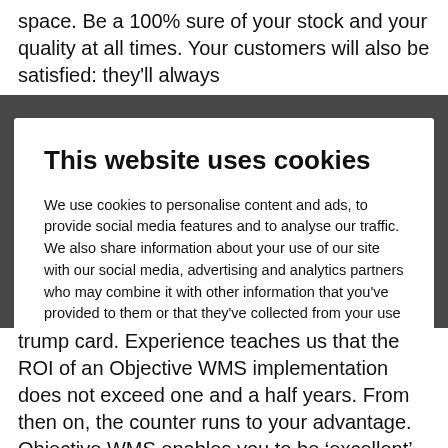space. Be a 100% sure of your stock and your quality at all times. Your customers will also be satisfied: they'll always
[Figure (screenshot): Cookie consent modal dialog with title 'This website uses cookies', explanation text about cookie usage, an OK button in red, and a 'Show details' link with chevron.]
trump card. Experience teaches us that the ROI of an Objective WMS implementation does not exceed one and a half years. From then on, the counter runs to your advantage. Objective WMS enables you to be 'excellent' in logistics. Through a better utilization of your warehouse, people and resources, Objective WMS helps you to